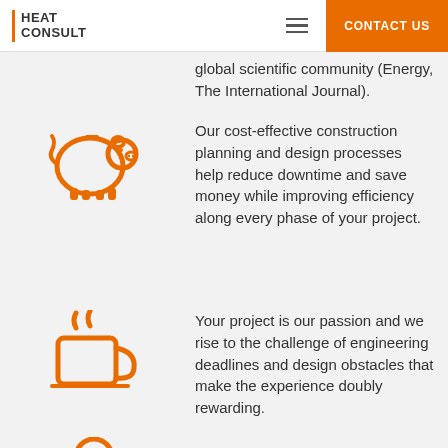HEAT CONSULT | CONTACT US
global scientific community (Energy, The International Journal).
[Figure (illustration): Orange piggy bank icon]
Our cost-effective construction planning and design processes help reduce downtime and save money while improving efficiency along every phase of your project.
[Figure (illustration): Orange coffee cup with steam icon]
Your project is our passion and we rise to the challenge of engineering deadlines and design obstacles that make the experience doubly rewarding.
[Figure (illustration): Orange person/head icon (partially visible)]
We value your trust and are prepared to